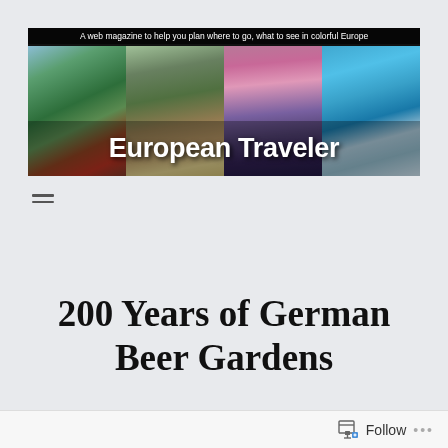[Figure (photo): European Traveler web magazine banner with tagline 'A web magazine to help you plan where to go, what to see in colorful Europe' over a collage of European travel photos including Alps with red train, Alpine chalet, Eiffel Tower, and Mediterranean coast. Text overlay reads 'European Traveler'.]
≡
200 Years of German Beer Gardens
Follow ...